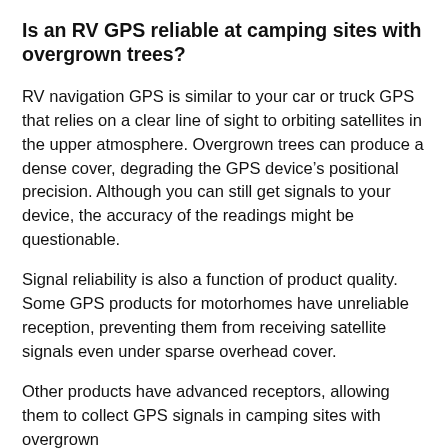Is an RV GPS reliable at camping sites with overgrown trees?
RV navigation GPS is similar to your car or truck GPS that relies on a clear line of sight to orbiting satellites in the upper atmosphere. Overgrown trees can produce a dense cover, degrading the GPS device’s positional precision. Although you can still get signals to your device, the accuracy of the readings might be questionable.
Signal reliability is also a function of product quality. Some GPS products for motorhomes have unreliable reception, preventing them from receiving satellite signals even under sparse overhead cover.
Other products have advanced receptors, allowing them to collect GPS signals in camping sites with overgrown